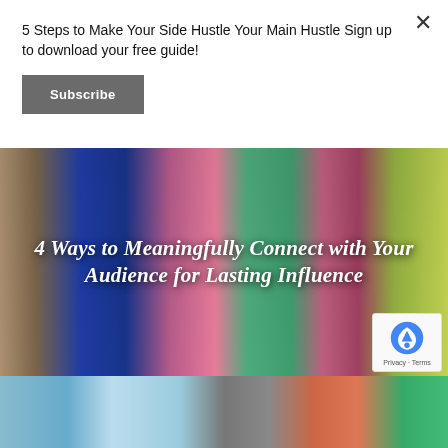5 Steps to Make Your Side Hustle Your Main Hustle Sign up to download your free guide!
Subscribe
[Figure (photo): Group of women standing together, wearing colorful outfits including blue jumpsuit, pink patterned dress, and yellow dress, with text overlay reading '4 Ways to Meaningfully Connect with Your Audience for Lasting Influence']
4 Ways to Meaningfully Connect with Your Audience for Lasting Influence
[Figure (photo): Clothing rack with colorful garments hanging, partial view]